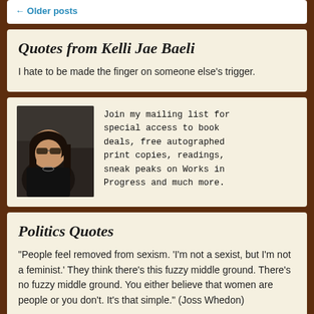← Older posts
Quotes from Kelli Jae Baeli
I hate to be made the finger on someone else's trigger.
[Figure (photo): Photo of a woman with sunglasses sitting in a car, with dark hair, beside mailing list signup text]
Join my mailing list for special access to book deals, free autographed print copies, readings, sneak peaks on Works in Progress and much more.
Politics Quotes
"People feel removed from sexism. 'I'm not a sexist, but I'm not a feminist.' They think there's this fuzzy middle ground. There's no fuzzy middle ground. You either believe that women are people or you don't. It's that simple." (Joss Whedon)